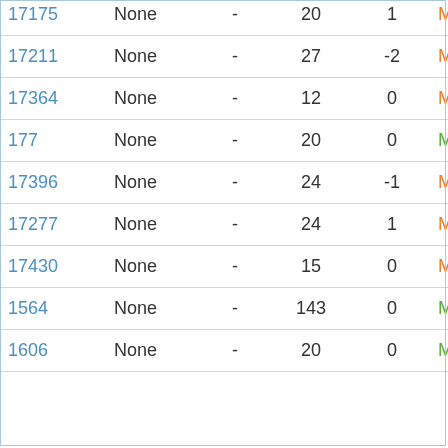| ID | Type | - | Num1 | Num2 | Status |
| --- | --- | --- | --- | --- | --- |
| 17175 | None | - | 20 | 1 | Manual |
| 17211 | None | - | 27 | -2 | Manual |
| 17364 | None | - | 12 | 0 | Manual |
| 177 | None | - | 20 | 0 | Manual |
| 17396 | None | - | 24 | -1 | Manual |
| 17277 | None | - | 24 | 1 | Manual |
| 17430 | None | - | 15 | 0 | Manual |
| 1564 | None | - | 143 | 0 | Manual |
| 1606 | None | - | 20 | 0 | Manual |